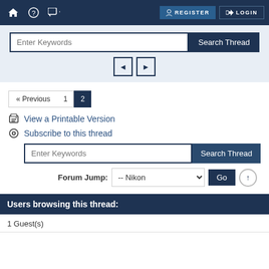REGISTER  LOGIN
[Figure (screenshot): Search bar with 'Enter Keywords' input and 'Search Thread' button, with left/right navigation arrows below]
[Figure (screenshot): Pagination: « Previous | 1 | 2 (active)]
View a Printable Version
Subscribe to this thread
[Figure (screenshot): Second search bar with 'Enter Keywords' and 'Search Thread' button]
[Figure (screenshot): Forum Jump dropdown showing '-- Nikon' with Go button]
Users browsing this thread:
1 Guest(s)